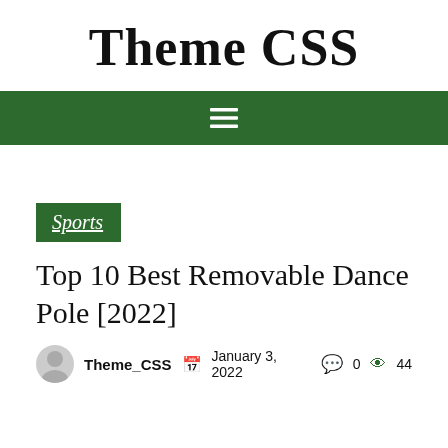Theme CSS
[Figure (other): Green navigation bar with hamburger menu icon (three horizontal white lines)]
Sports
Top 10 Best Removable Dance Pole [2022]
Theme_CSS  January 3, 2022  0  44